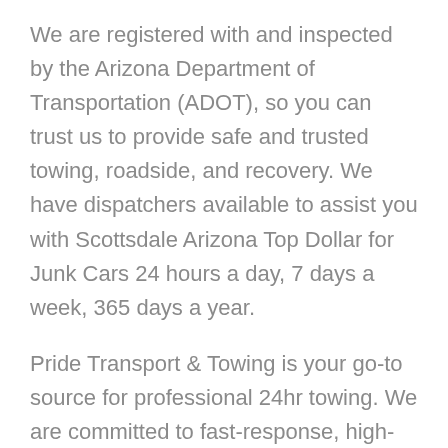We are registered with and inspected by the Arizona Department of Transportation (ADOT), so you can trust us to provide safe and trusted towing, roadside, and recovery. We have dispatchers available to assist you with Scottsdale Arizona Top Dollar for Junk Cars 24 hours a day, 7 days a week, 365 days a year.
Pride Transport & Towing is your go-to source for professional 24hr towing. We are committed to fast-response, high-quality and value-priced towing and roadside services and our team is dedicated to 100% customer satisfaction.